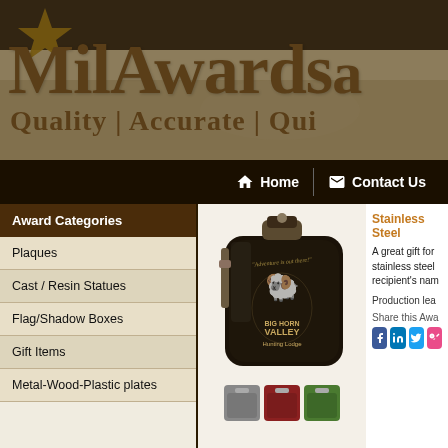[Figure (screenshot): MilAwards website header banner with military-themed background (desert camouflage scene, star graphic), large stylized text 'MilAwards' and tagline 'Quality | Accurate | Qui...']
Home   Contact Us
Award Categories
Plaques
Cast / Resin Statues
Flag/Shadow Boxes
Gift Items
Metal-Wood-Plastic plates
[Figure (photo): Dark matte black stainless steel hip flask engraved with 'Big Horn Valley Hunting Lodge' logo and a ram head, with text 'Adventure is out there!']
Stainless Steel
A great gift for stainless steel recipient's nam
Production lea
Share this Awa
[Figure (screenshot): Social sharing icons: Facebook, LinkedIn, Twitter, and another platform]